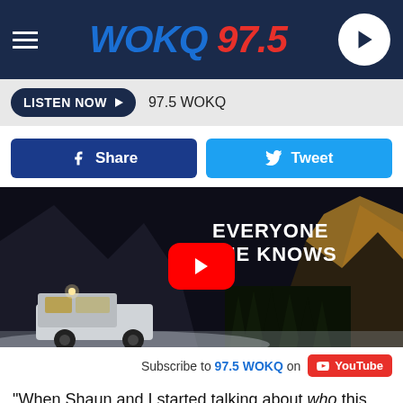WOKQ 97.5
LISTEN NOW  97.5 WOKQ
Share   Tweet
[Figure (screenshot): YouTube video thumbnail showing a van/camper in a snowy mountain scene at night with text 'EVERYONE SHE KNOWS' and a YouTube play button overlay]
Subscribe to 97.5 WOKQ on YouTube
“When Shaun and I started talking about who this woman should be, we wanted to show her on the road, in the world, against a backdrop of the path not taken,” Chesney says of